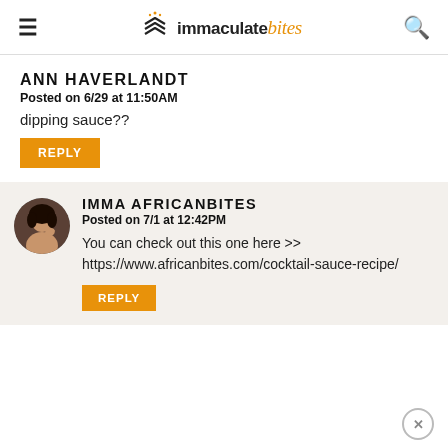immaculate bites
ANN HAVERLANDT
Posted on 6/29 at 11:50AM
dipping sauce??
REPLY
IMMA AFRICANBITES
Posted on 7/1 at 12:42PM
You can check out this one here >> https://www.africanbites.com/cocktail-sauce-recipe/
REPLY